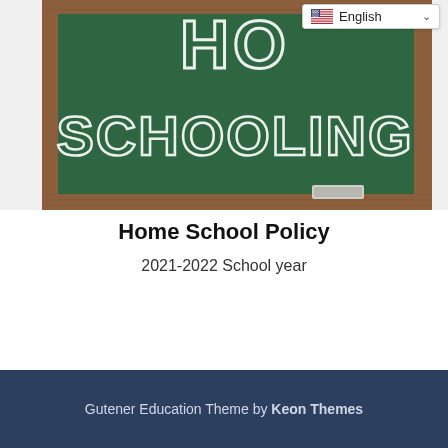[Figure (illustration): A green chalkboard with a brown wooden frame. Written in white chalk-style text is 'HO' at the top (partially cut off) and 'SCHOOLING' in large letters below. A chalk eraser sits at the bottom right of the board. A language selector widget showing a US flag and 'English' with a dropdown arrow is overlaid in the top right corner.]
Home School Policy
2021-2022 School year
Gutener Education Theme by Keon Themes